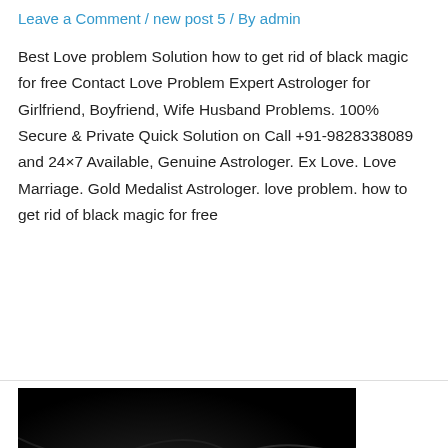Leave a Comment / new post 5 / By admin
Best Love problem Solution how to get rid of black magic for free Contact Love Problem Expert Astrologer for Girlfriend, Boyfriend, Wife Husband Problems. 100% Secure & Private Quick Solution on Call +91-9828338089 and 24×7 Available, Genuine Astrologer. Ex Love. Love Marriage. Gold Medalist Astrologer. love problem. how to get rid of black magic for free
[Figure (photo): Dark supernatural horror illustration showing a demonic creature with glowing white eyes against a smoky black background. Overlaid chat bubble text reads 'How can I help you?' with a green phone call button and green WhatsApp button.]